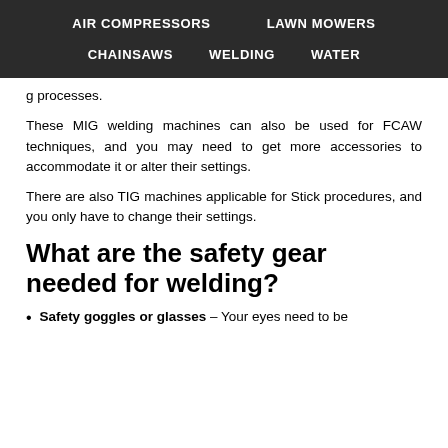AIR COMPRESSORS    LAWN MOWERS    CHAINSAWS    WELDING    WATER
g processes.
These MIG welding machines can also be used for FCAW techniques, and you may need to get more accessories to accommodate it or alter their settings.
There are also TIG machines applicable for Stick procedures, and you only have to change their settings.
What are the safety gear needed for welding?
Safety goggles or glasses – Your eyes need to be